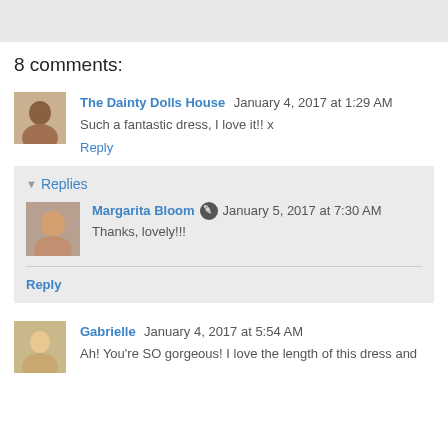8 comments:
The Dainty Dolls House January 4, 2017 at 1:29 AM
Such a fantastic dress, I love it!! x
Reply
Replies
Margarita Bloom January 5, 2017 at 7:30 AM
Thanks, lovely!!!
Reply
Gabrielle January 4, 2017 at 5:54 AM
Ah! You're SO gorgeous! I love the length of this dress and